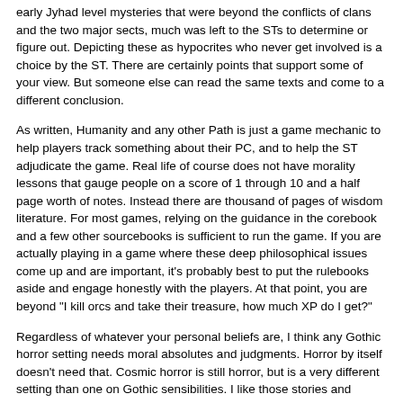early Jyhad level mysteries that were beyond the conflicts of clans and the two major sects, much was left to the STs to determine or figure out. Depicting these as hypocrites who never get involved is a choice by the ST. There are certainly points that support some of your view. But someone else can read the same texts and come to a different conclusion.
As written, Humanity and any other Path is just a game mechanic to help players track something about their PC, and to help the ST adjudicate the game. Real life of course does not have morality lessons that gauge people on a score of 1 through 10 and a half page worth of notes. Instead there are thousand of pages of wisdom literature. For most games, relying on the guidance in the corebook and a few other sourcebooks is sufficient to run the game. If you are actually playing in a game where these deep philosophical issues come up and are important, it's probably best to put the rulebooks aside and engage honestly with the players. At that point, you are beyond "I kill orcs and take their treasure, how much XP do I get?"
Regardless of whatever your personal beliefs are, I think any Gothic horror setting needs moral absolutes and judgments. Horror by itself doesn't need that. Cosmic horror is still horror, but is a very different setting than one on Gothic sensibilities. I like those stories and games too. Call of Cthulhu is one of my favorite games. But the WoD is not one of them. Now many WoD games may only use Gothic tropes as an aesthetic, not a driving principle. And for some of the game lines, that may be fine. But as a game of personal horror, I think a moral absolute is important in Vampire. Not everyone agrees on that, and that's fine. They can play their games and not worry about me showing up to ruin their fun.